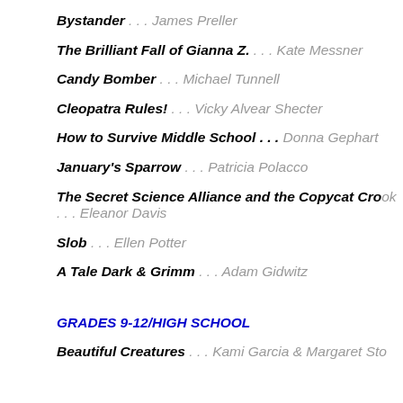Bystander . . . James Preller
The Brilliant Fall of Gianna Z. . . . Kate Messner
Candy Bomber . . . Michael Tunnell
Cleopatra Rules! . . . Vicky Alvear Shecter
How to Survive Middle School . . . Donna Gephart
January's Sparrow . . . Patricia Polacco
The Secret Science Alliance and the Copycat Crook . . . Eleanor Davis
Slob . . . Ellen Potter
A Tale Dark & Grimm . . . Adam Gidwitz
GRADES 9-12/HIGH SCHOOL
Beautiful Creatures . . . Kami Garcia & Margaret Stohl